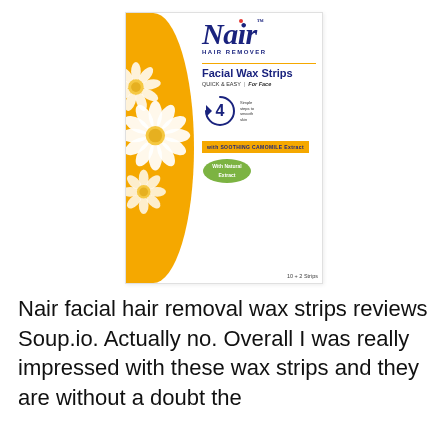[Figure (photo): Nair Hair Remover Facial Wax Strips product box. White box with orange curved left side decorated with daisy flowers. Blue Nair logo at top, 'HAIR REMOVER' text, 'Facial Wax Strips' heading, 'QUICK & EASY | For Face' subtitle, circular '4' icon, orange 'with SOOTHING CAMOMILE Extract' badge, green 'With Natural Extract' leaf badge, and '10 + 2 Strips' at bottom.]
Nair facial hair removal wax strips reviews Soup.io. Actually no. Overall I was really impressed with these wax strips and they are without a doubt the